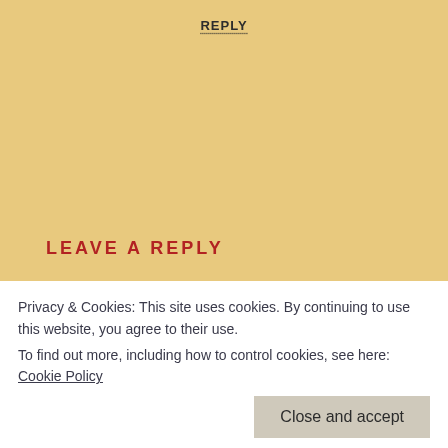REPLY
LEAVE A REPLY
Your email address will not be published. Required fields are marked *
COMMENT *
NAME *
Privacy & Cookies: This site uses cookies. By continuing to use this website, you agree to their use.
To find out more, including how to control cookies, see here: Cookie Policy
Close and accept